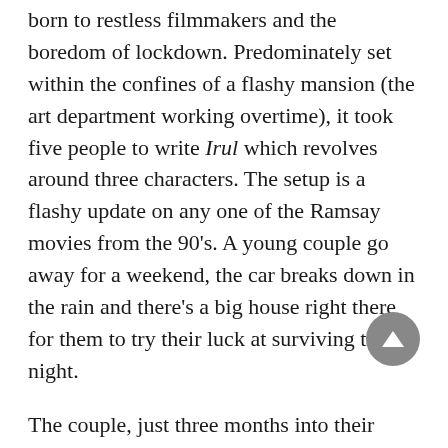born to restless filmmakers and the boredom of lockdown. Predominately set within the confines of a flashy mansion (the art department working overtime), it took five people to write Irul which revolves around three characters. The setup is a flashy update on any one of the Ramsay movies from the 90's. A young couple go away for a weekend, the car breaks down in the rain and there's a big house right there for them to try their luck at surviving the night.
The couple, just three months into their relationship, appear to be interesting. Alex (Soubin in a terrible miscast role) is a crime novelist who has just completed his first book, also titled Irul (darkness). His girlfriend Archana is a busy lawyer who hardly has time to be with Alex, even when they're on a